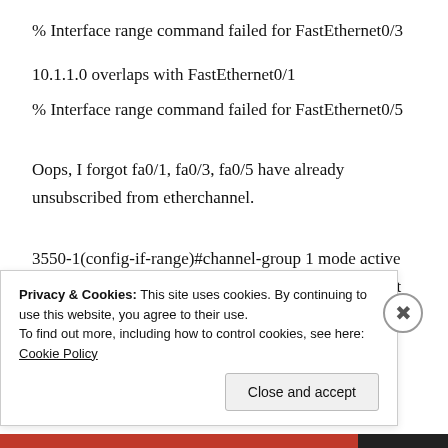% Interface range command failed for FastEthernet0/3
10.1.1.0 overlaps with FastEthernet0/1
% Interface range command failed for FastEthernet0/5
Oops, I forgot fa0/1, fa0/3, fa0/5 have already unsubscribed from etherchannel.
3550-1(config-if-range)#channel-group 1 mode active
Command rejected (Port-channel1, Fa0/1): Either port is L2 and port-channel is L3, or vice-versa
% Range command terminated because it failed on
Privacy & Cookies: This site uses cookies. By continuing to use this website, you agree to their use.
To find out more, including how to control cookies, see here: Cookie Policy
Close and accept